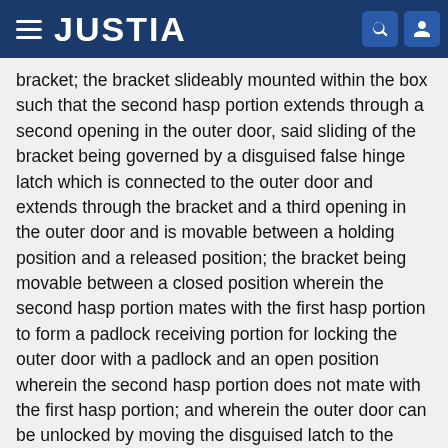JUSTIA
bracket; the bracket slideably mounted within the box such that the second hasp portion extends through a second opening in the outer door, said sliding of the bracket being governed by a disguised false hinge latch which is connected to the outer door and extends through the bracket and a third opening in the outer door and is movable between a holding position and a released position; the bracket being movable between a closed position wherein the second hasp portion mates with the first hasp portion to form a padlock receiving portion for locking the outer door with a padlock and an open position wherein the second hasp portion does not mate with the first hasp portion; and wherein the outer door can be unlocked by moving the disguised latch to the released position so as to permit movement of the bracket int
Type: Grant